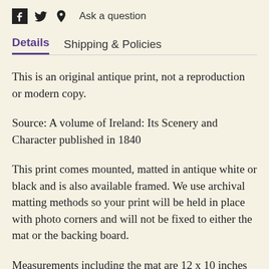Ask a question
Details   Shipping & Policies
This is an original antique print, not a reproduction or modern copy.
Source: A volume of Ireland: Its Scenery and Character published in 1840
This print comes mounted, matted in antique white or black and is also available framed. We use archival matting methods so your print will be held in place with photo corners and will not be fixed to either the mat or the backing board.
Measurements including the mat are 12 x 10 inches